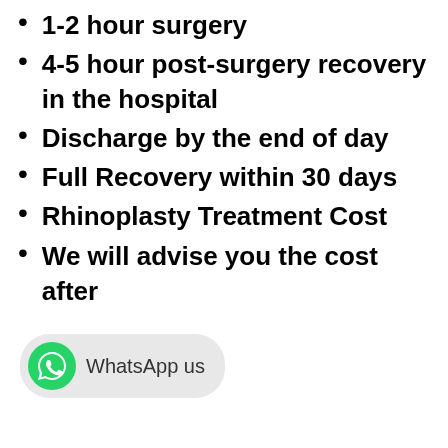1-2 hour surgery
4-5 hour post-surgery recovery in the hospital
Discharge by the end of day
Full Recovery within 30 days
Rhinoplasty Treatment Cost
We will advise you the cost after
[Figure (other): WhatsApp us button with green WhatsApp logo icon and rounded grey background]